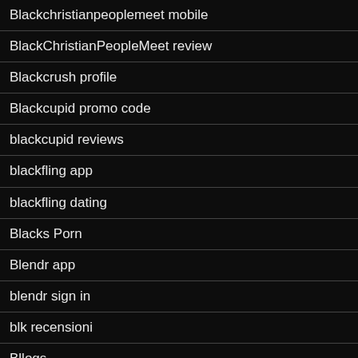Blackchristianpeoplemeet mobile
BlackChristianPeopleMeet review
Blackcrush profile
Blackcupid promo code
blackcupid reviews
blackfling app
blackfling dating
Blacks Porn
Blendr app
blendr sign in
blk recensioni
Bllogs
Bllogss